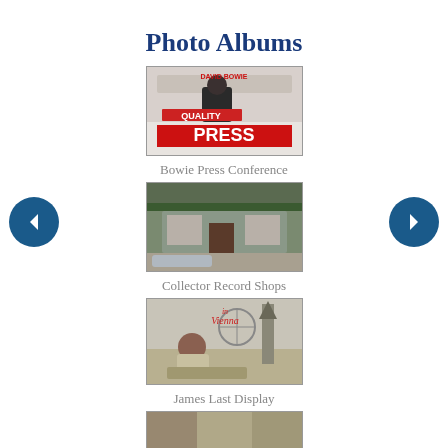Photo Albums
[Figure (photo): Thumbnail image for Bowie Press Conference album — shows a David Bowie press conference poster with 'QUALITY PRESS' text]
Bowie Press Conference
[Figure (photo): Thumbnail image for Collector Record Shops album — shows storefront of a record shop]
Collector Record Shops
[Figure (photo): Thumbnail image for James Last Display album — shows person seated with 'in Vienna' text overlay]
James Last Display
[Figure (photo): Thumbnail image for a fourth album — partially visible at bottom of page]